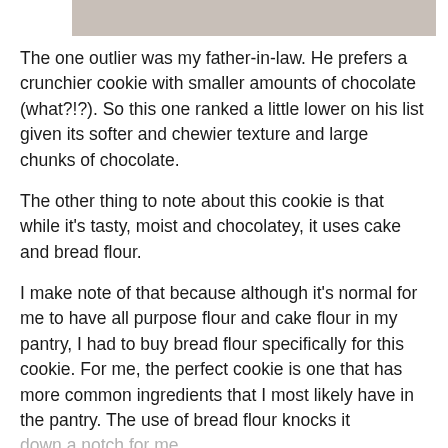[Figure (photo): Partial photo strip at top of page showing a food/cookie image, cropped.]
The one outlier was my father-in-law. He prefers a crunchier cookie with smaller amounts of chocolate (what?!?). So this one ranked a little lower on his list given its softer and chewier texture and large chunks of chocolate.
The other thing to note about this cookie is that while it’s tasty, moist and chocolatey, it uses cake and bread flour.
I make note of that because although it’s normal for me to have all purpose flour and cake flour in my pantry, I had to buy bread flour specifically for this cookie. For me, the perfect cookie is one that has more common ingredients that I most likely have in the pantry. The use of bread flour knocks it down a notch for me.